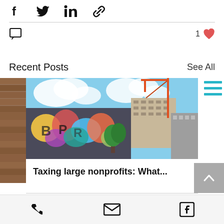[Figure (other): Social share icons: Facebook, Twitter, LinkedIn, link/chain icon]
[Figure (other): Comment bubble icon on left, '1' and red heart like icon on right]
Recent Posts
See All
[Figure (photo): Partial photo of a brick building on the left edge]
[Figure (photo): Photo of a building with colorful graffiti mural in foreground and a construction crane and building under construction in background against blue sky]
[Figure (other): Partial right-side card with two cyan/teal horizontal lines]
Taxing large nonprofits: What...
[Figure (other): Back to top button with upward chevron arrow on gray background]
Phone icon, Email icon, Facebook icon